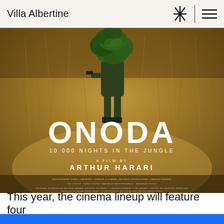Villa Albertine
[Figure (photo): Movie poster for 'Onoda – 10 000 Nights in the Jungle', a film by Arthur Harari. Features a soldier camouflaged in tall golden/brown grass with green foliage on his back. Large white text reads ONODA with subtitle '10 000 NIGHTS IN THE JUNGLE' and 'A FILM BY ARTHUR HARARI'.]
This year, the cinema lineup will feature four